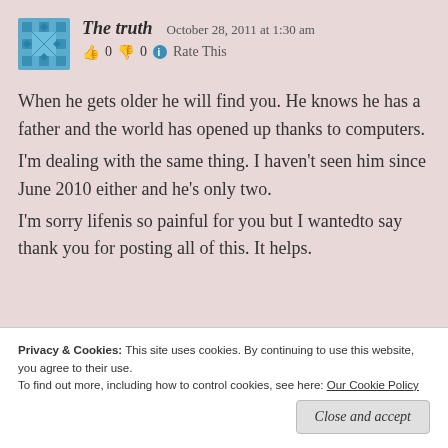The truth   October 28, 2011 at 1:30 am
👍 0 👎 0 ℹ Rate This
When he gets older he will find you. He knows he has a father and the world has opened up thanks to computers.
I'm dealing with the same thing. I haven't seen him since June 2010 either and he's only two.
I'm sorry lifenis so painful for you but I wantedto say thank you for posting all of this. It helps.
Privacy & Cookies: This site uses cookies. By continuing to use this website, you agree to their use.
To find out more, including how to control cookies, see here: Our Cookie Policy
Close and accept